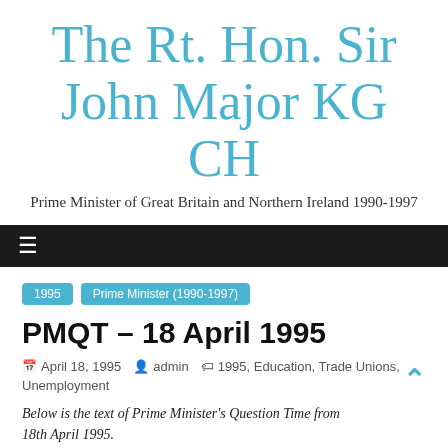The Rt. Hon. Sir John Major KG CH
Prime Minister of Great Britain and Northern Ireland 1990-1997
☰
1995   Prime Minister (1990-1997)
PMQT – 18 April 1995
April 18, 1995   admin   1995, Education, Trade Unions, Unemployment
Below is the text of Prime Minister's Question Time from 18th April 1995.